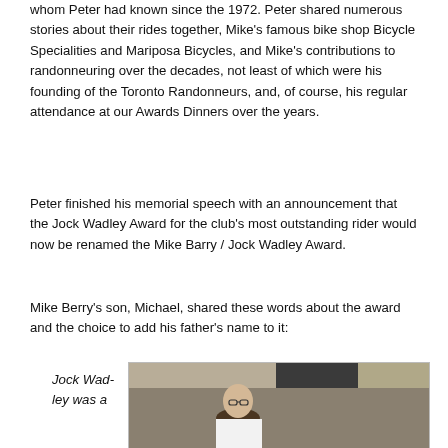whom Peter had known since the 1972. Peter shared numerous stories about their rides together, Mike's famous bike shop Bicycle Specialities and Mariposa Bicycles, and Mike's contributions to randonneuring over the decades, not least of which were his founding of the Toronto Randonneurs, and, of course, his regular attendance at our Awards Dinners over the years.
Peter finished his memorial speech with an announcement that the Jock Wadley Award for the club's most outstanding rider would now be renamed the Mike Barry / Jock Wadley Award.
Mike Berry's son, Michael, shared these words about the award and the choice to add his father's name to it:
Jock Wadley was a
[Figure (photo): A photo of a person in a room with a checkered ceiling, wearing glasses and a white shirt, seated and leaning forward slightly.]